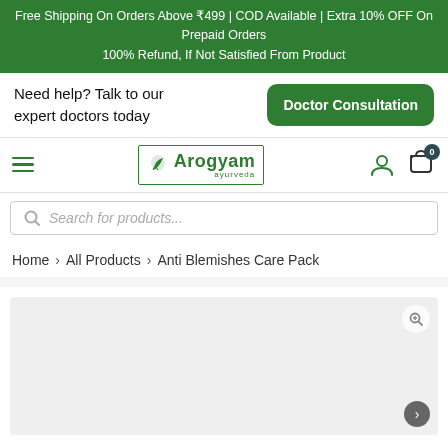Free Shipping On Orders Above ₹499 | COD Available | Extra 10% OFF On Prepaid Orders
100% Refund, If Not Satisfied From Product
Need help? Talk to our expert doctors today
Doctor Consultation
[Figure (logo): Arogyam Ayurveda logo with leaf icon in green border box]
Search for products...
Home > All Products > Anti Blemishes Care Pack
[Figure (photo): Product image area with light gray background, zoom magnifier icon top right, navigation arrow bottom right]